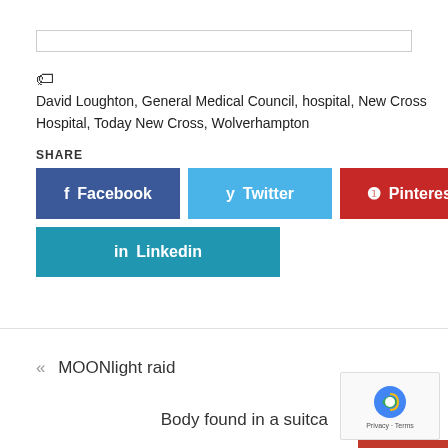David Loughton, General Medical Council, hospital, New Cross Hospital, Today New Cross, Wolverhampton
SHARE
[Figure (other): Social share buttons: Facebook, Twitter, Pinterest, Linkedin]
« MOONlight raid
Body found in a suitca